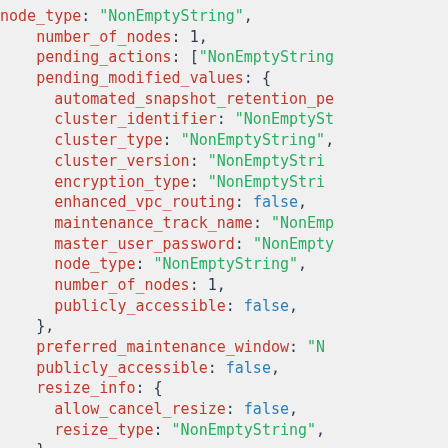Code block showing JSON-like structure with fields: number_of_nodes, pending_actions, pending_modified_values (with subfields: automated_snapshot_retention_period, cluster_identifier, cluster_type, cluster_version, encryption_type, enhanced_vpc_routing, maintenance_track_name, master_user_password, node_type, number_of_nodes, publicly_accessible), preferred_maintenance_window, publicly_accessible, resize_info (allow_cancel_resize, resize_type), restore_status (current_restore_rate_in_mega_bytes, elapsed_time_in_seconds, estimated_time_to_completion)